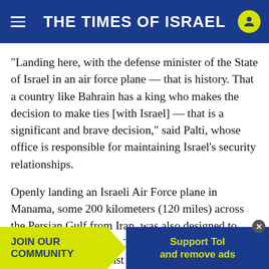THE TIMES OF ISRAEL
“Landing here, with the defense minister of the State of Israel in an air force plane — that is history. That a country like Bahrain has a king who makes the decision to make ties [with Israel] — that is a significant and brave decision,” said Palti, whose office is responsible for maintaining Israel’s security relationships.
Openly landing an Israeli Air Force plane in Manama, some 200 kilometers (120 miles) across the Persian Gulf from Iran, was also designed to send a clear message to Tehran about the growing alliance forming against it that includes Israel, Bahra…, and th…